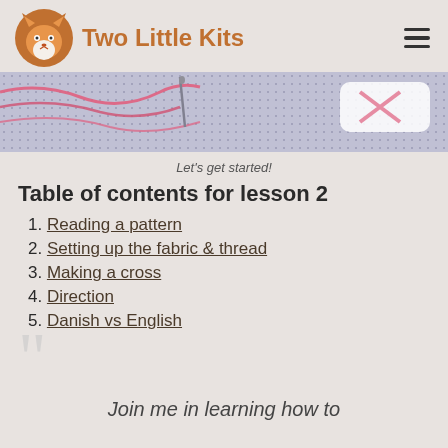Two Little Kits
[Figure (photo): Close-up photo of cross-stitch fabric with pink thread and needle]
Let's get started!
Table of contents for lesson 2
1. Reading a pattern
2. Setting up the fabric & thread
3. Making a cross
4. Direction
5. Danish vs English
Join me in learning how to